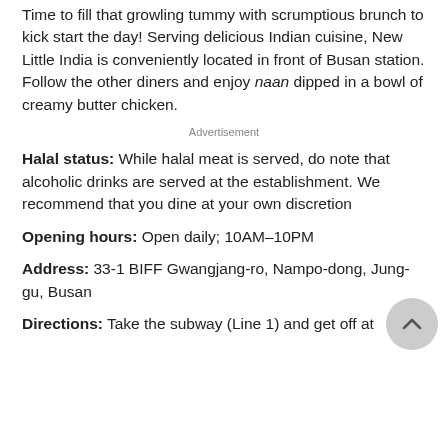Time to fill that growling tummy with scrumptious brunch to kick start the day! Serving delicious Indian cuisine, New Little India is conveniently located in front of Busan station. Follow the other diners and enjoy naan dipped in a bowl of creamy butter chicken.
Advertisement
Halal status: While halal meat is served, do note that alcoholic drinks are served at the establishment. We recommend that you dine at your own discretion
Opening hours: Open daily; 10AM–10PM
Address: 33-1 BIFF Gwangjang-ro, Nampo-dong, Jung-gu, Busan
Directions: Take the subway (Line 1) and get off at